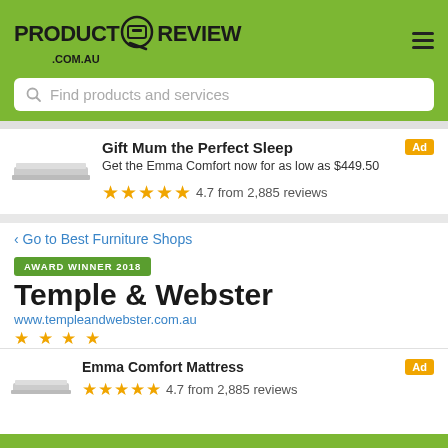PRODUCTREVIEW .COM.AU
Find products and services
Gift Mum the Perfect Sleep
Get the Emma Comfort now for as low as $449.50
★★★★★ 4.7 from 2,885 reviews
‹ Go to Best Furniture Shops
AWARD WINNER 2018
Temple & Webster
www.templeandwebster.com.au
Emma Comfort Mattress
★★★★★ 4.7 from 2,885 reviews